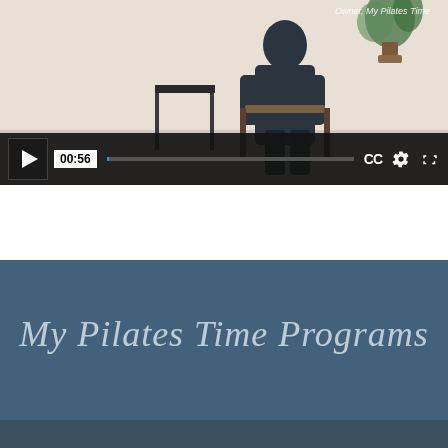[Figure (screenshot): Video player screenshot showing a person seated in a chair against a light background with a plant. The video controls bar shows a play button, timestamp 00:56, a progress bar, CC button, settings gear icon, and fullscreen icon. Text overlay reads 'Owner, My Pilates Time'.]
My Pilates Time Programs